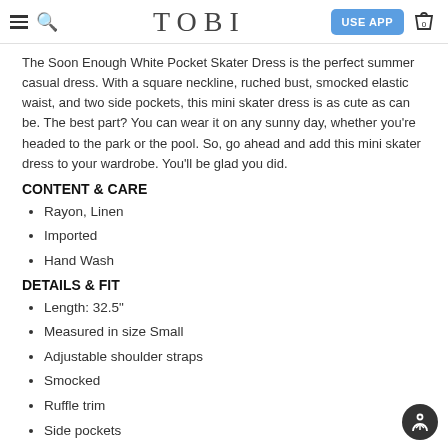TOBI
The Soon Enough White Pocket Skater Dress is the perfect summer casual dress. With a square neckline, ruched bust, smocked elastic waist, and two side pockets, this mini skater dress is as cute as can be. The best part? You can wear it on any sunny day, whether you're headed to the park or the pool. So, go ahead and add this mini skater dress to your wardrobe. You'll be glad you did.
CONTENT & CARE
Rayon, Linen
Imported
Hand Wash
DETAILS & FIT
Length: 32.5"
Measured in size Small
Adjustable shoulder straps
Smocked
Ruffle trim
Side pockets
White modeled on size Small.
Model's profile: height 5'9", bust 31", waist 25"